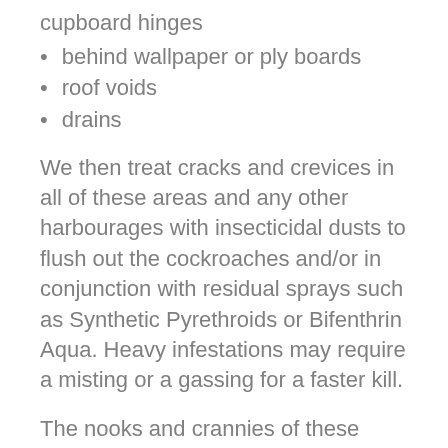behind wallpaper or ply boards
roof voids
drains
We then treat cracks and crevices in all of these areas and any other harbourages with insecticidal dusts to flush out the cockroaches and/or in conjunction with residual sprays such as Synthetic Pyrethroids or Bifenthrin Aqua. Heavy infestations may require a misting or a gassing for a faster kill.
The nooks and crannies of these areas are then treated as well as all the cracks and crevices, through use of insecticidal dusts which flush the cockroaches out. This might be used in conjunction with residual sprays such as Bifenthrin Aqua and Synthetic Pyrethroids. Some of the more extensive infestations